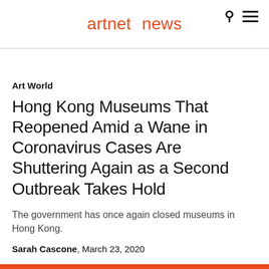artnet news
Art World
Hong Kong Museums That Reopened Amid a Wane in Coronavirus Cases Are Shuttering Again as a Second Outbreak Takes Hold
The government has once again closed museums in Hong Kong.
Sarah Cascone, March 23, 2020